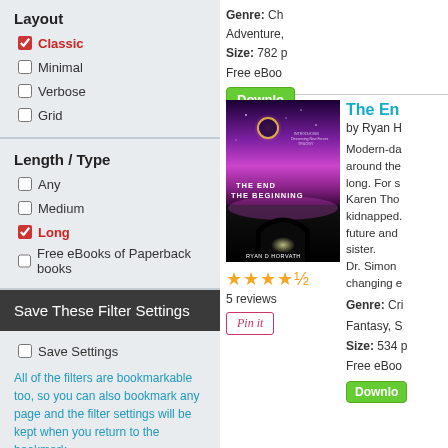Layout
Classic (checked)
Minimal
Verbose
Grid
Length / Type
Any
Medium
Long (checked)
Free eBooks of Paperback books
Save These Filter Settings
Save Settings
All of the filters are bookmarkable too, so you can also bookmark any page and the filter settings will be kept when you return to the bookmark
Genre: Ch Adventure, Size: 782 p Free eBoo
Download
[Figure (photo): Book cover of 'The End The Beginning' by Ryan D Horvath - dark purple/magenta sky with eclipse and tunnel]
The En
by Ryan H
Modern-da around the long. For s Karen Tho kidnapped. future and sister. Dr. Simon changing e
Genre: Cri Fantasy, S Size: 534 p Free eBoo
5 reviews
Pin it
Download